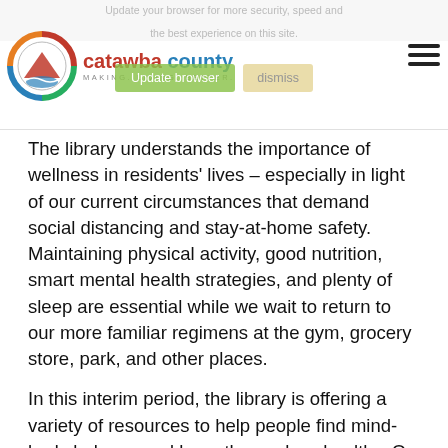Update your browser for more security, speed and the best experience on this site. [Catawba County – MAKING. LIVING. BETTER.] [hamburger menu]
The library understands the importance of wellness in residents' lives – especially in light of our current circumstances that demand social distancing and stay-at-home safety. Maintaining physical activity, good nutrition, smart mental health strategies, and plenty of sleep are essential while we wait to return to our more familiar regimens at the gym, grocery store, park, and other places.
In this interim period, the library is offering a variety of resources to help people find mind-body balance and keep themselves healthy. On Mindfulness Mondays, we have tapped into a series of tai chi videos that focus on improving immunity and reducing stress. You can do them from the comfort of your own home and at your own pace. Not only will they give your joints and ligaments a good stretch, but they'll also help you learn techniques for sustaining mental health and improving the immune system.